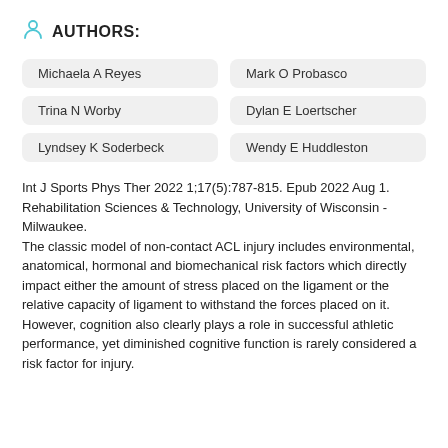AUTHORS:
Michaela A Reyes
Mark O Probasco
Trina N Worby
Dylan E Loertscher
Lyndsey K Soderbeck
Wendy E Huddleston
Int J Sports Phys Ther 2022 1;17(5):787-815. Epub 2022 Aug 1.
Rehabilitation Sciences & Technology, University of Wisconsin - Milwaukee.
The classic model of non-contact ACL injury includes environmental, anatomical, hormonal and biomechanical risk factors which directly impact either the amount of stress placed on the ligament or the relative capacity of ligament to withstand the forces placed on it. However, cognition also clearly plays a role in successful athletic performance, yet diminished cognitive function is rarely considered a risk factor for injury.